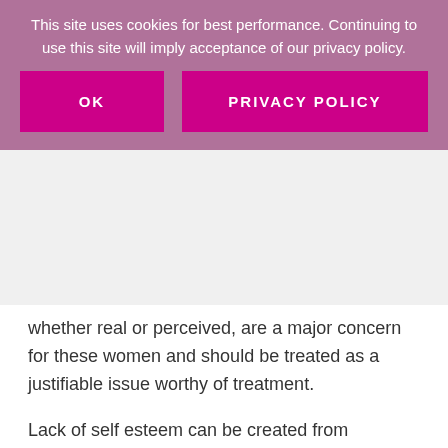This site uses cookies for best performance. Continuing to use this site will imply acceptance of our privacy policy.
OK
PRIVACY POLICY
whether real or perceived, are a major concern for these women and should be treated as a justifiable issue worthy of treatment.
Lack of self esteem can be created from experiencing any of the common complaints women generally site as an underlying motivations for wanting cosmetic surgical correction including: sagginess, small size, unusual shape, asymmetry, unusual placement, aesthetic nipple issues or a generally unattractive